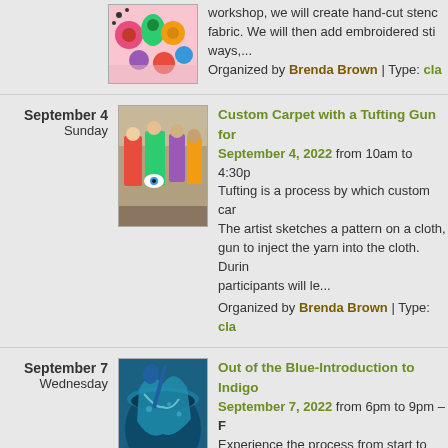[Figure (photo): Colorful fabric/textile craft image with flowers and patterns]
workshop, we will create hand-cut stenc fabric. We will then add embroidered sti ways,...
Organized by Brenda Brown | Type: cla
September 4
Sunday
[Figure (photo): Group of people in a tufting workshop holding colorful carpet pieces]
Custom Carpet with a Tufting Gun for September 4, 2022 from 10am to 4:30p Tufting is a process by which custom car The artist sketches a pattern on a cloth, gun to inject the yarn into the cloth. Duri participants will le...
Organized by Brenda Brown | Type: cla
September 7
Wednesday
[Figure (photo): Blue indigo dye materials and fabric in a pot]
Out of the Blue-Introduction to Indigo September 7, 2022 from 6pm to 9pm – Experience the process from start to fini choosing a pattern and knotting the fabri submerging, rinsing, and revealing your is designed for peopl...
Organized by Brenda Brown | Type: cla
[Figure (logo): RSS feed icon]